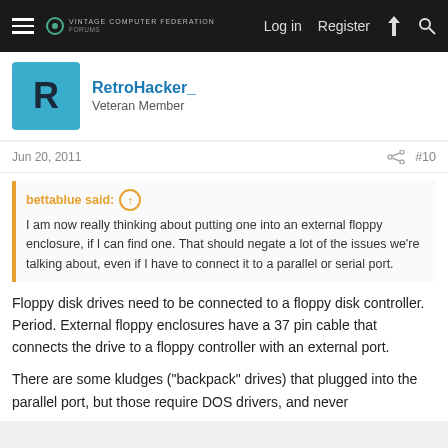Log in  Register
RetroHacker_
Veteran Member
Jun 20, 2011  #10
bettablue said:
I am now really thinking about putting one into an external floppy enclosure, if I can find one. That should negate a lot of the issues we're talking about, even if I have to connect it to a parallel or serial port.
Floppy disk drives need to be connected to a floppy disk controller. Period. External floppy enclosures have a 37 pin cable that connects the drive to a floppy controller with an external port.
There are some kludges ("backpack" drives) that plugged into the parallel port, but those require DOS drivers, and never